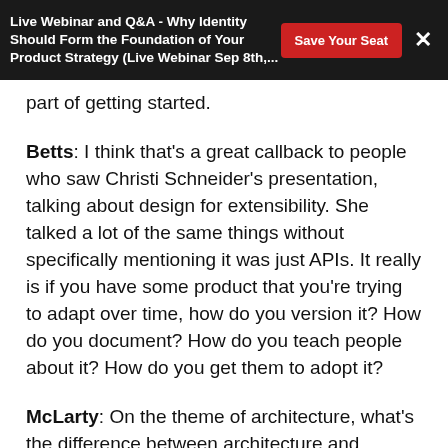Live Webinar and Q&A - Why Identity Should Form the Foundation of Your Product Strategy (Live Webinar Sep 8th,...
part of getting started.
Betts: I think that's a great callback to people who saw Christi Schneider's presentation, talking about design for extensibility. She talked a lot of the same things without specifically mentioning it was just APIs. It really is if you have some product that you're trying to adapt over time, how do you version it? How do you document? How do you teach people about it? How do you get them to adopt it?
McLarty: On the theme of architecture, what's the difference between architecture and design? It could be just architecture are those decisions you make that have long lasting implications. There are things you can do upfront that will snooker you on creating